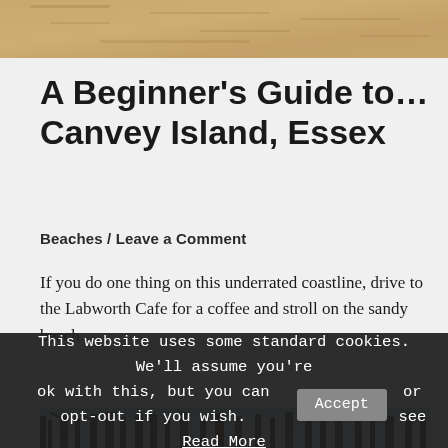[Figure (photo): Close-up sandy beach texture photo strip at top of page]
A Beginner's Guide to…Canvey Island, Essex
Beaches / Leave a Comment
If you do one thing on this underrated coastline, drive to the Labworth Cafe for a coffee and stroll on the sandy beach
[Figure (photo): Partial photo strip showing trees with bare branches and blue sky]
This website uses some standard cookies. We'll assume you're ok with this, but you can opt-out if you wish. Accept or see Read More